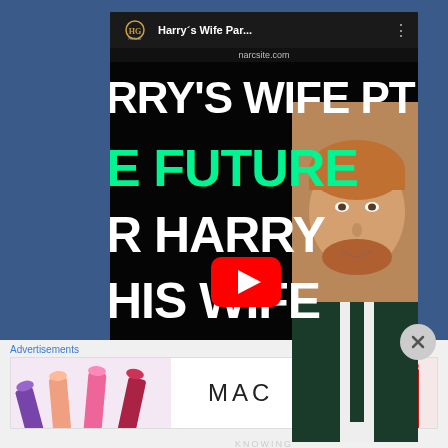[Figure (screenshot): YouTube video thumbnail showing a video titled 'Harry's Wife Par...' from a channel, with text overlay reading 'RRY'S WIFE PT 7', 'THE FUTURE', 'FOR HARRY', 'AND HIS WIFE', a YouTube play button, an image of Prince Harry, and a 'Knowing Narcissism' logo at the bottom. The video URL shows narcsite.com.]
Advertisements
[Figure (photo): MAC cosmetics advertisement banner showing colorful lipsticks on the left, MAC logo in the center, a SHOP NOW box, and a red lipstick on the right.]